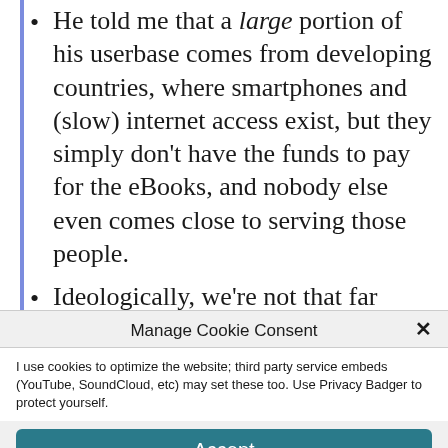He told me that a large portion of his userbase comes from developing countries, where smartphones and (slow) internet access exist, but they simply don't have the funds to pay for the eBooks, and nobody else even comes close to serving those people.
Ideologically, we're not that far apart,
Manage Cookie Consent
I use cookies to optimize the website; third party service embeds (YouTube, SoundCloud, etc) may set these too. Use Privacy Badger to protect yourself.
Accept